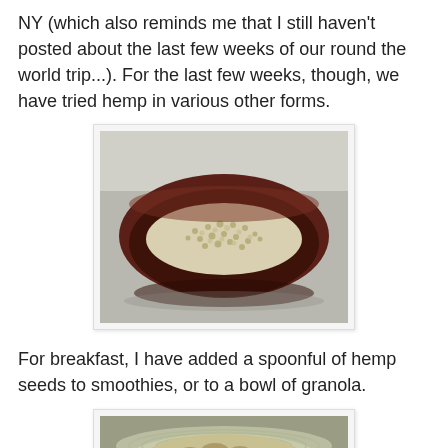NY (which also reminds me that I still haven't posted about the last few weeks of our round the world trip...). For the last few weeks, though, we have tried hemp in various other forms.
[Figure (photo): A dark reddish-brown ceramic bowl filled with hemp seeds, photographed from slightly above on a grey surface.]
For breakfast, I have added a spoonful of hemp seeds to smoothies, or to a bowl of granola.
[Figure (photo): A glass bowl containing granola with hemp seeds, viewed from above at an angle.]